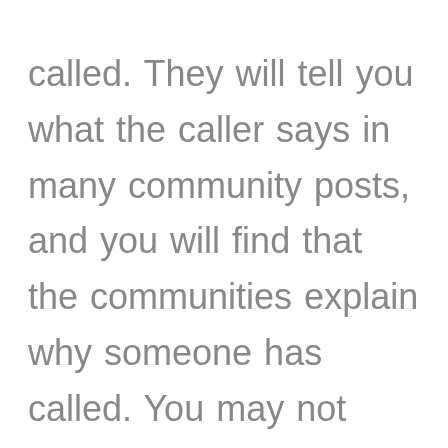called. They will tell you what the caller says in many community posts, and you will find that the communities explain why someone has called. You may not realize that certain calls must be picked up, and you will find that calling these people back is important.